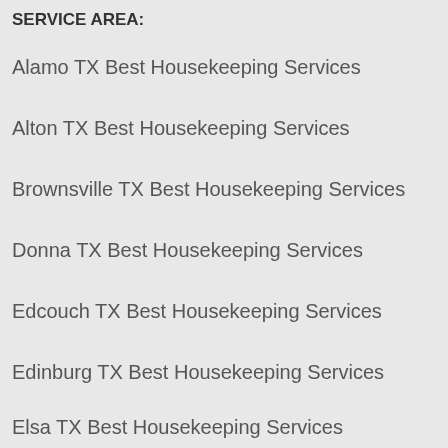SERVICE AREA:
Alamo TX Best Housekeeping Services
Alton TX Best Housekeeping Services
Brownsville TX Best Housekeeping Services
Donna TX Best Housekeeping Services
Edcouch TX Best Housekeeping Services
Edinburg TX Best Housekeeping Services
Elsa TX Best Housekeeping Services